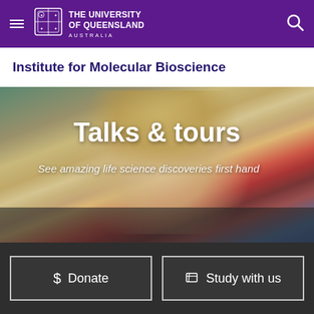The University of Queensland Australia
Institute for Molecular Bioscience
[Figure (photo): Close-up blurred photo of a blonde woman in a laboratory setting with colorful lab equipment in the background]
Talks & tours
See amazing life science discoveries first hand
$ Donate
Study with us